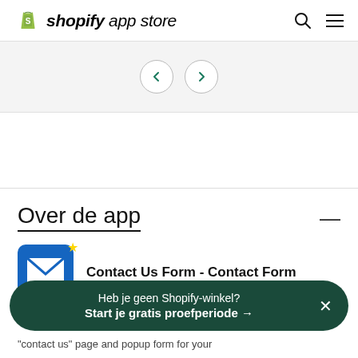shopify app store
[Figure (screenshot): Navigation carousel with left and right arrow buttons in circles]
Over de app
[Figure (logo): Contact Us Form - Contact Form app icon: blue envelope with white envelope shape and yellow star badge]
Contact Us Form - Contact Form
Heb je geen Shopify-winkel? Start je gratis proefperiode →
"contact us" page and popup form for your